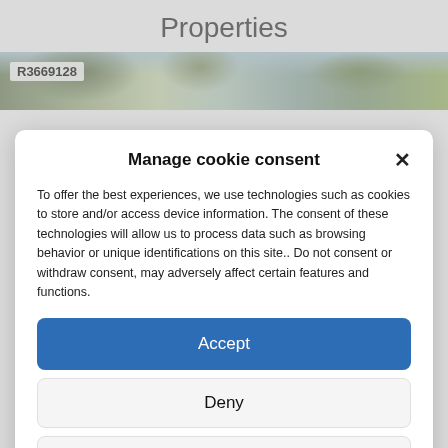Properties
[Figure (photo): Street view of properties with trees and buildings, labeled R3669128]
Manage cookie consent
To offer the best experiences, we use technologies such as cookies to store and/or access device information. The consent of these technologies will allow us to process data such as browsing behavior or unique identifications on this site.. Do not consent or withdraw consent, may adversely affect certain features and functions.
Accept
Deny
View preferences
Politica De Cookies   Términos y Condiciones   Aviso Legal